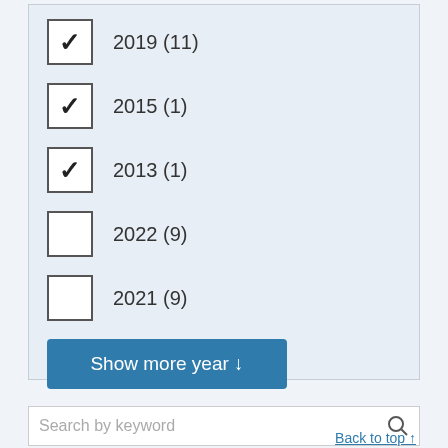2019 (11) [checked]
2015 (1) [checked]
2013 (1) [checked]
2022 (9) [unchecked]
2021 (9) [unchecked]
Show more year ↓
Search by keyword
Back to top ↑